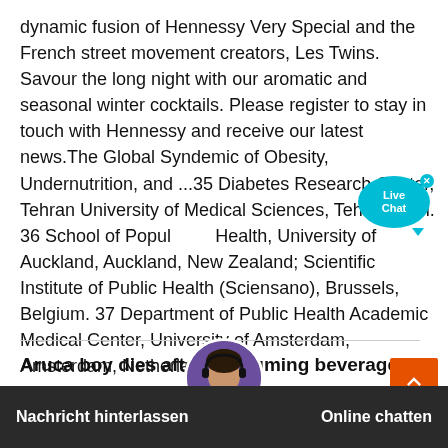dynamic fusion of Hennessy Very Special and the French street movement creators, Les Twins. Savour the long night with our aromatic and seasonal winter cocktails. Please register to stay in touch with Hennessy and receive our latest news.The Global Syndemic of Obesity, Undernutrition, and ...35 Diabetes Research Center, Tehran University of Medical Sciences, Tehran, Iran. 36 School of Population Health, University of Auckland, Auckland, New Zealand; Scientific Institute of Public Health (Sciensano), Brussels, Belgium. 37 Department of Public Health Academic Medical Center, University of Amsterdam, Amsterdam, Netherlands.
Aruca boy dies after consuming beverage
2021-12-22  ·  A 13-year-old indigenous youth of Aruca
beverage and his family is hospitalised at the Maharum...